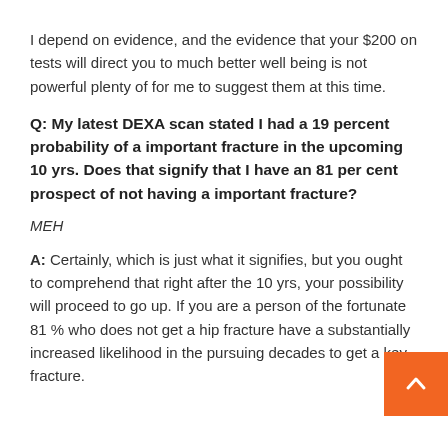I depend on evidence, and the evidence that your $200 on tests will direct you to much better well being is not powerful plenty of for me to suggest them at this time.
Q: My latest DEXA scan stated I had a 19 percent probability of a important fracture in the upcoming 10 yrs. Does that signify that I have an 81 per cent prospect of not having a important fracture?
MEH
A: Certainly, which is just what it signifies, but you ought to comprehend that right after the 10 yrs, your possibility will proceed to go up. If you are a person of the fortunate 81 % who does not get a hip fracture have a substantially increased likelihood in the pursuing decades to get a key fracture.